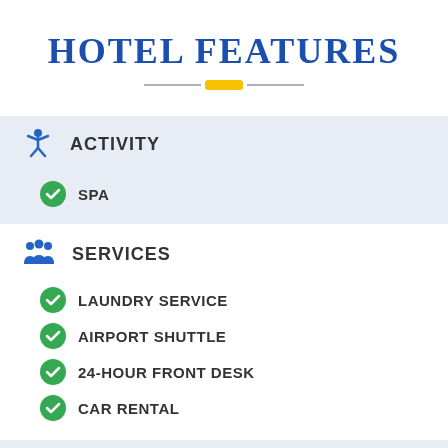HOTEL FEATURES
ACTIVITY
SPA
SERVICES
LAUNDRY SERVICE
AIRPORT SHUTTLE
24-HOUR FRONT DESK
CAR RENTAL
PARKING